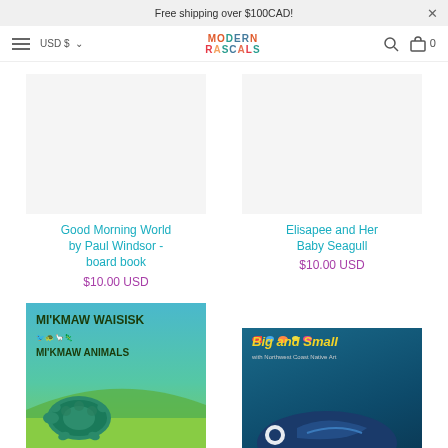Free shipping over $100CAD!
Modern Rascals — USD $ — Search — Cart 0
Good Morning World by Paul Windsor - board book
$10.00 USD
Elisapee and Her Baby Seagull
$10.00 USD
[Figure (photo): Book cover: Mi'kmaw Waisisk / Mi'kmaw Animals — illustrated cover with turtle on green landscape]
[Figure (photo): Book cover: Big and Small with Northwest Coast Native Art — illustrated cover with fish and whale on teal background]